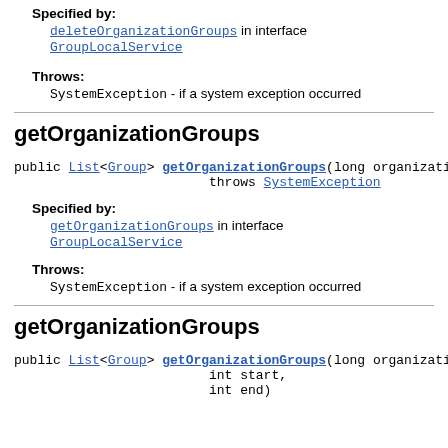Specified by:
deleteOrganizationGroups in interface GroupLocalService
Throws:
SystemException - if a system exception occurred
getOrganizationGroups
public List<Group> getOrganizationGroups(long organizatio throws SystemException
Specified by:
getOrganizationGroups in interface GroupLocalService
Throws:
SystemException - if a system exception occurred
getOrganizationGroups
public List<Group> getOrganizationGroups(long organizatio int start, int end)